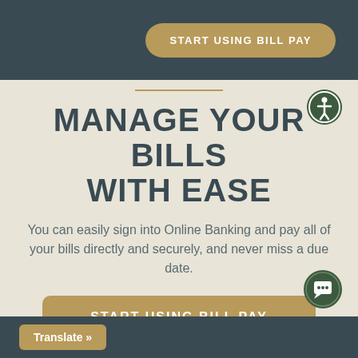START USING BILL PAY
MANAGE YOUR BILLS WITH EASE
You can easily sign into Online Banking and pay all of your bills directly and securely, and never miss a due date.
[Figure (other): Gold/tan rounded rectangle button with white bold uppercase text: START USING BILL PAY]
Translate »